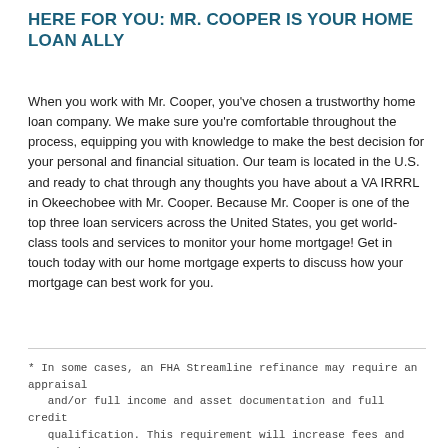HERE FOR YOU: MR. COOPER IS YOUR HOME LOAN ALLY
When you work with Mr. Cooper, you've chosen a trustworthy home loan company. We make sure you're comfortable throughout the process, equipping you with knowledge to make the best decision for your personal and financial situation. Our team is located in the U.S. and ready to chat through any thoughts you have about a VA IRRRL in Okeechobee with Mr. Cooper. Because Mr. Cooper is one of the top three loan servicers across the United States, you get world-class tools and services to monitor your home mortgage! Get in touch today with our home mortgage experts to discuss how your mortgage can best work for you.
* In some cases, an FHA Streamline refinance may require an appraisal and/or full income and asset documentation and full credit qualification. This requirement will increase fees and required paperwork. A licensed Mortgage Professional can inform you of all options available to you as well as the program requirements.